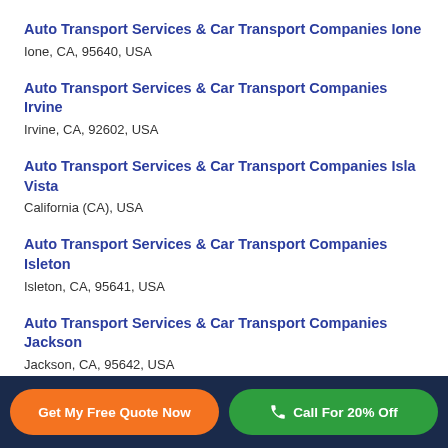Auto Transport Services & Car Transport Companies Ione
Ione, CA, 95640, USA
Auto Transport Services & Car Transport Companies Irvine
Irvine, CA, 92602, USA
Auto Transport Services & Car Transport Companies Isla Vista
California (CA), USA
Auto Transport Services & Car Transport Companies Isleton
Isleton, CA, 95641, USA
Auto Transport Services & Car Transport Companies Jackson
Jackson, CA, 95642, USA
Auto Transport Services & Car Transport Companies Kern
Get My Free Quote Now | Call For 20% Off